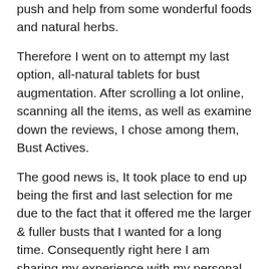push and help from some wonderful foods and natural herbs.
Therefore I went on to attempt my last option, all-natural tablets for bust augmentation. After scrolling a lot online, scanning all the items, as well as examine down the reviews, I chose among them, Bust Actives.
The good news is, It took place to end up being the first and last selection for me due to the fact that it offered me the larger & fuller busts that I wanted for a long time. Consequently right here I am sharing my experience with my personal use reviews.
What are Breast Actives Pills & Lotion?